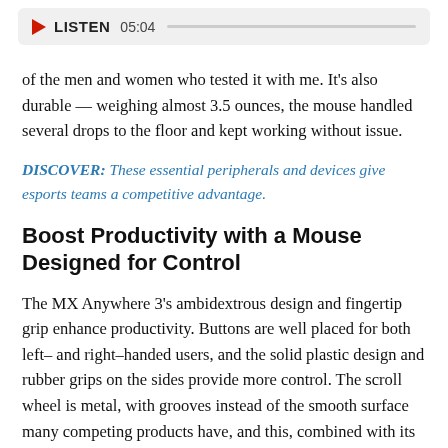[Figure (other): Audio player bar with play button, LISTEN label, duration 05:04, and progress track]
of the men and women who tested it with me. It's also durable — weighing almost 3.5 ounces, the mouse handled several drops to the floor and kept working without issue.
DISCOVER: These essential peripherals and devices give esports teams a competitive advantage.
Boost Productivity with a Mouse Designed for Control
The MX Anywhere 3's ambidextrous design and fingertip grip enhance productivity. Buttons are well placed for both left– and right–handed users, and the solid plastic design and rubber grips on the sides provide more control. The scroll wheel is metal, with grooves instead of the smooth surface many competing products have, and this, combined with its sleek size, makes the mouse one of the few peripherals that